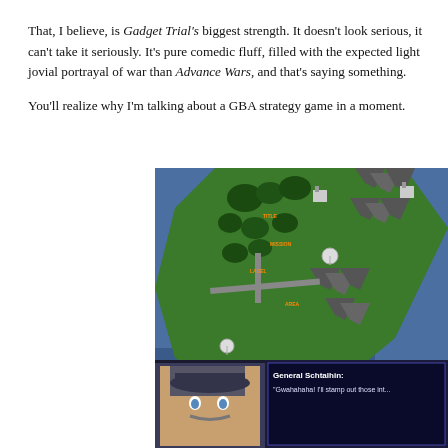That, I believe, is Gadget Trial's biggest strength. It doesn't look serious, it can't take it seriously. It's pure comedic fluff, filled with the expected light jovial portrayal of war than Advance Wars, and that's saying something.

You'll realize why I'm talking about a GBA strategy game in a moment.
[Figure (screenshot): Screenshot of a GBA strategy game (Gadget Trial) showing an isometric map with green terrain, trees, mountains, water/ocean, roads and military buildings. In the lower portion, a character portrait of General Schtalhin appears with dialogue text reading: 'Gwahahaha! I'll stamp out those int...']